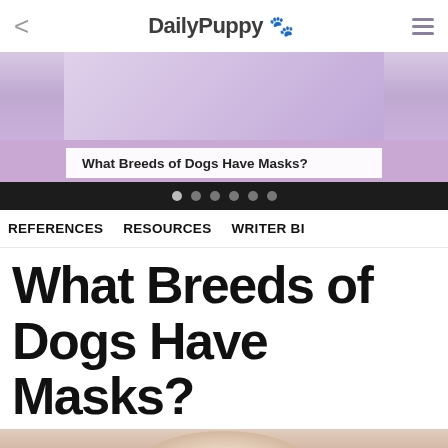DailyPuppy 🐾
[Figure (screenshot): Carousel card showing 'What Breeds of Dogs Have Masks?' with a purple background and article caption overlay]
REFERENCES   RESOURCES   WRITER BI
What Breeds of Dogs Have Masks?
[Figure (photo): Close-up photo of a dog (likely a Labrador or similar breed) from below against a green grassy background]